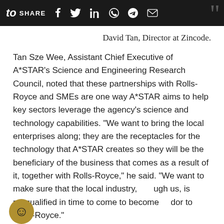to SHARE
David Tan, Director at Zincode.
Tan Sze Wee, Assistant Chief Executive of A*STAR's Science and Engineering Research Council, noted that these partnerships with Rolls-Royce and SMEs are one way A*STAR aims to help key sectors leverage the agency's science and technology capabilities. “We want to bring the local enterprises along; they are the receptacles for the technology that A*STAR creates so they will be the beneficiary of the business that comes as a result of it, together with Rolls-Royce,” he said. “We want to make sure that the local industry, through us, is prequalified in time to come to become a vendor to Rolls-Royce.”